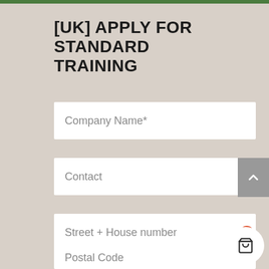[UK] APPLY FOR STANDARD TRAINING
Company Name*
Contact
Street + House number
Postal Code